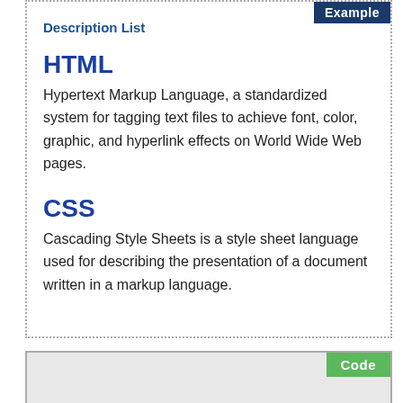Example
Description List
HTML
Hypertext Markup Language, a standardized system for tagging text files to achieve font, color, graphic, and hyperlink effects on World Wide Web pages.
CSS
Cascading Style Sheets is a style sheet language used for describing the presentation of a document written in a markup language.
Code
<dl>
  <dt>HTML</dt>
  <dd>Hypertext Markup Language, a standardized system for tagging text files to achieve font, color,